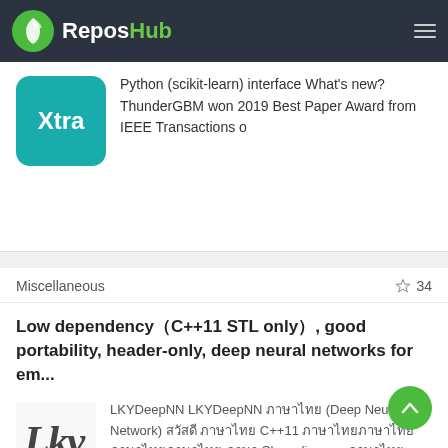ReposHub
[Figure (screenshot): Xtra app icon - teal rounded square with white text 'Xtra']
Python (scikit-learn) interface What's new? ThunderGBM won 2019 Best Paper Award from IEEE Transactions o
Miscellaneous
☆ 34
Low dependency（C++11 STL only）, good portability, header-only, deep neural networks for em...
[Figure (logo): LKY logo - stylized italic 'Lky' text in dark gray on white background]
LKYDeepNN LKYDeepNN ภาษาไทย (Deep Neural Network) สวัสดี ภาษาไทย C++11 ภาษาไทยภาษาไทยภาษาไทยภาษาไทย ภาษา Class diagram ภาษาไทย demo ภาษาบ ภาษาไทย OpenCV